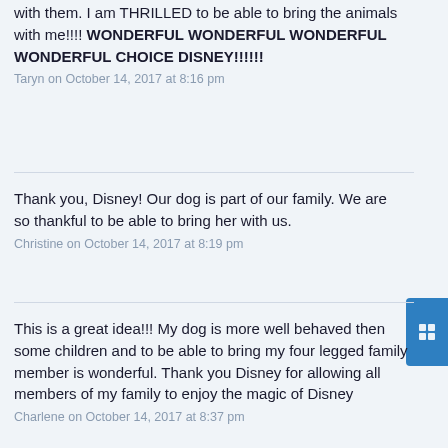with them. I am THRILLED to be able to bring the animals with me!!!! WONDERFUL WONDERFUL WONDERFUL WONDERFUL CHOICE DISNEY!!!!!!
Taryn on October 14, 2017 at 8:16 pm
Thank you, Disney! Our dog is part of our family. We are so thankful to be able to bring her with us.
Christine on October 14, 2017 at 8:19 pm
This is a great idea!!! My dog is more well behaved then some children and to be able to bring my four legged family member is wonderful. Thank you Disney for allowing all members of my family to enjoy the magic of Disney
Charlene on October 14, 2017 at 8:37 pm
We are coming to Disney for the first time for my family in just a week. Planned out everything and even getting a split stay, unfortunately we'll be at AOA and POR, both of which will now allow dogs. I'm hoping that since this is so new it won't be an